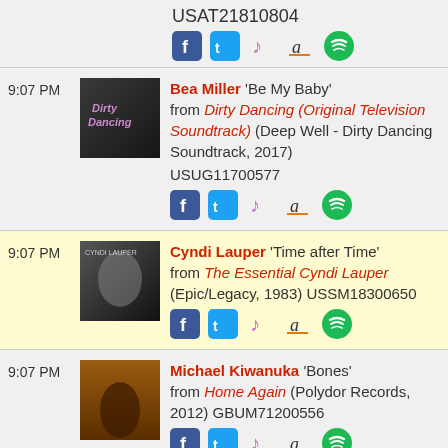USAT21810804
9:07 PM — Bea Miller 'Be My Baby' from Dirty Dancing (Original Television Soundtrack) (Deep Well - Dirty Dancing Soundtrack, 2017) USUG11700577
9:07 PM — Cyndi Lauper 'Time after Time' from The Essential Cyndi Lauper (Epic/Legacy, 1983) USSM18300650
9:07 PM — Michael Kiwanuka 'Bones' from Home Again (Polydor Records, 2012) GBUM71200556
9:08 PM — LANY 'Valentine's Day'